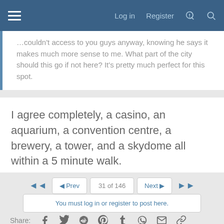Log in   Register
…I couldn't access to you guys anyway, knowing he says it makes much more sense to me. What part of the city should this go if not here? It's pretty much perfect for this spot.
I agree completely, a casino, an aquarium, a convention centre, a brewery, a tower, and a skydome all within a 5 minute walk.
◄   ◄ Prev   31 of 146   Next ►   ►►
You must log in or register to post here.
Share: